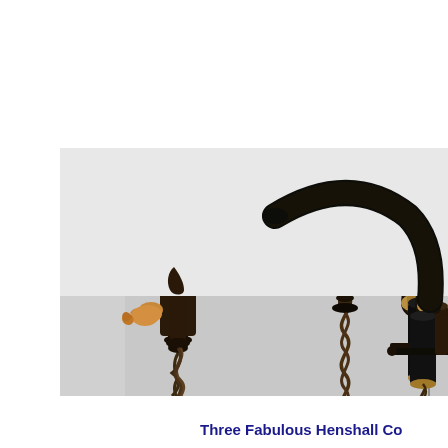[Figure (photo): Photograph showing three antique Henshall corkscrews with dark wooden and horn handles and metal helix worms, arranged on a light grey background. A partial fourth corkscrew is visible at the right edge of the image.]
Three Fabulous Henshall Co